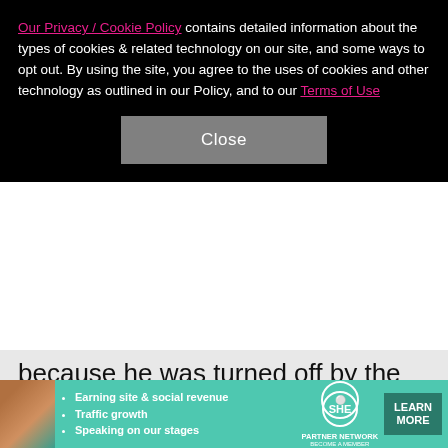Our Privacy / Cookie Policy contains detailed information about the types of cookies & related technology on our site, and some ways to opt out. By using the site, you agree to the uses of cookies and other technology as outlined in our Policy, and to our Terms of Use
Close
because he was turned off by the spotlight on her. "Rita is cut up about the whole situation," said a source. "Andrew split up with her recently and it's been hard going as they had spent a lot of time together. They spent Christmas together and she thought things were going well between them. Her career is going from strength to strength and [she] lives her life in the spotlight but he told her he wanted to lead a more private life. Rita had tried to do that and had kept their
[Figure (screenshot): Advertisement banner for SHE Partner Network with photo of woman, bullet points: Earning site & social revenue, Traffic growth, Speaking on our stages, SHE logo, LEARN MORE button]